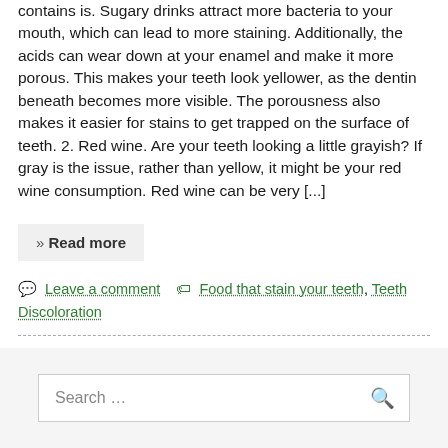contains is. Sugary drinks attract more bacteria to your mouth, which can lead to more staining. Additionally, the acids can wear down at your enamel and make it more porous. This makes your teeth look yellower, as the dentin beneath becomes more visible. The porousness also makes it easier for stains to get trapped on the surface of teeth. 2. Red wine. Are your teeth looking a little grayish? If gray is the issue, rather than yellow, it might be your red wine consumption. Red wine can be very [...]
» Read more
Leave a comment   Food that stain your teeth, Teeth Discoloration
Search ...